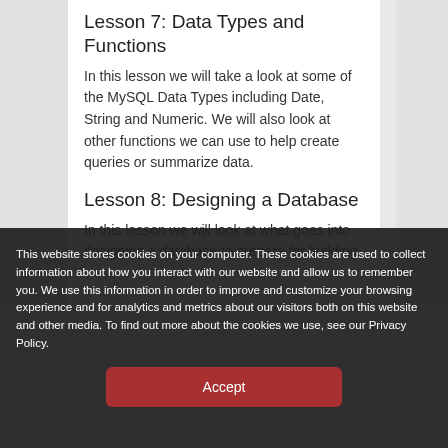Lesson 7: Data Types and Functions
In this lesson we will take a look at some of the MySQL Data Types including Date, String and Numeric. We will also look at other functions we can use to help create queries or summarize data.
Lesson 8: Designing a Database
In this lesson we will look at what goes into designing a database to prepare for building
This website stores cookies on your computer. These cookies are used to collect information about how you interact with our website and allow us to remember you. We use this information in order to improve and customize your browsing experience and for analytics and metrics about our visitors both on this website and other media. To find out more about the cookies we use, see our Privacy Policy.